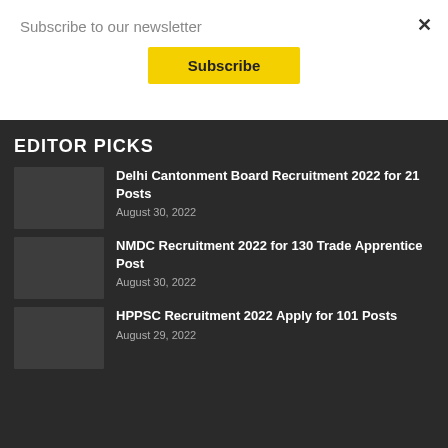Subscribe to our newsletter
Subscribe
EDITOR PICKS
Delhi Cantonment Board Recruitment 2022 for 21 Posts
August 30, 2022
NMDC Recruitment 2022 for 130 Trade Apprentice Post
August 30, 2022
HPPSC Recruitment 2022 Apply for 101 Posts
August 29, 2022